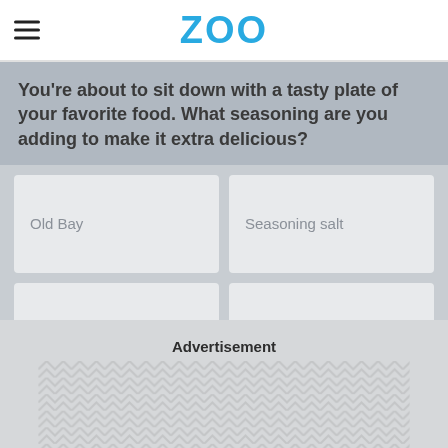ZOO
You're about to sit down with a tasty plate of your favorite food. What seasoning are you adding to make it extra delicious?
Old Bay
Seasoning salt
Pepper
Curry powder
Advertisement